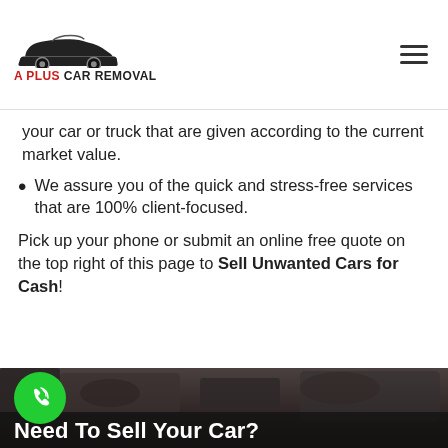[Figure (logo): A Plus Car Removal logo with car silhouette graphic and text 'A PLUS CAR REMOVAL']
your car or truck that are given according to the current market value.
We assure you of the quick and stress-free services that are 100% client-focused.
Pick up your phone or submit an online free quote on the top right of this page to Sell Unwanted Cars for Cash!
[Figure (photo): Dark photo of car engine or vehicle parts, partially visible at the bottom of the page]
Need To Sell Your Car?